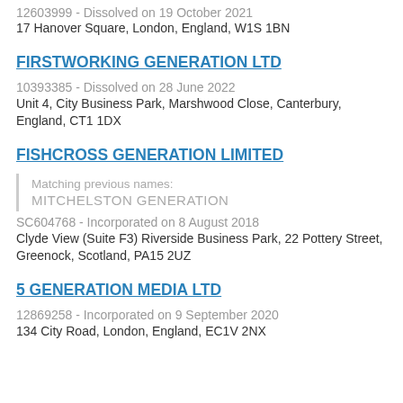12603999 - Dissolved on 19 October 2021
17 Hanover Square, London, England, W1S 1BN
FIRSTWORKING GENERATION LTD
10393385 - Dissolved on 28 June 2022
Unit 4, City Business Park, Marshwood Close, Canterbury, England, CT1 1DX
FISHCROSS GENERATION LIMITED
Matching previous names:
MITCHELSTON GENERATION
SC604768 - Incorporated on 8 August 2018
Clyde View (Suite F3) Riverside Business Park, 22 Pottery Street, Greenock, Scotland, PA15 2UZ
5 GENERATION MEDIA LTD
12869258 - Incorporated on 9 September 2020
134 City Road, London, England, EC1V 2NX